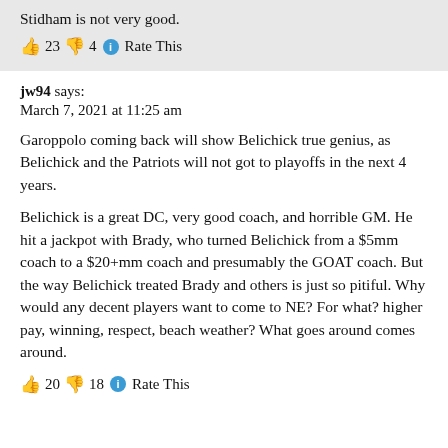Stidham is not very good.
👍 23 👎 4 ℹ Rate This
jw94 says:
March 7, 2021 at 11:25 am
Garoppolo coming back will show Belichick true genius, as Belichick and the Patriots will not got to playoffs in the next 4 years.
Belichick is a great DC, very good coach, and horrible GM. He hit a jackpot with Brady, who turned Belichick from a $5mm coach to a $20+mm coach and presumably the GOAT coach. But the way Belichick treated Brady and others is just so pitiful. Why would any decent players want to come to NE? For what? higher pay, winning, respect, beach weather? What goes around comes around.
👍 20 👎 18 ℹ Rate This